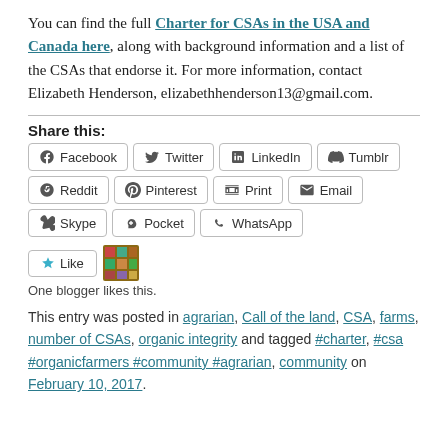You can find the full Charter for CSAs in the USA and Canada here, along with background information and a list of the CSAs that endorse it. For more information, contact Elizabeth Henderson, elizabethhenderson13@gmail.com.
Share this:
Facebook Twitter LinkedIn Tumblr Reddit Pinterest Print Email Skype Pocket WhatsApp
Like One blogger likes this.
This entry was posted in agrarian, Call of the land, CSA, farms, number of CSAs, organic integrity and tagged #charter, #csa #organicfarmers #community #agrarian, community on February 10, 2017.